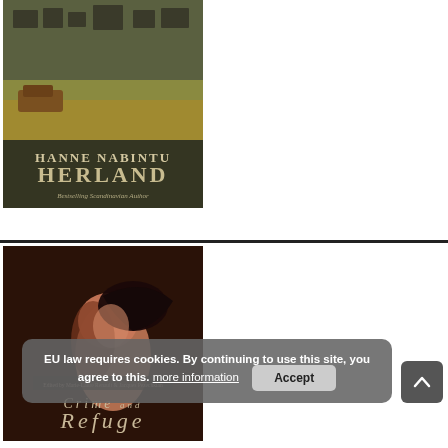[Figure (photo): Book cover: 'Hanne Nabintu Herland - Bestselling Scandinavian Author' with a dark outdoor/ruins background and yellow text]
[Figure (photo): Book cover: 'Crime and Refuge' showing a dark artistic image of a person's face/neck tilted back, with small author credit text above the title]
EU law requires cookies. By continuing to use this site, you agree to this. more information Accept